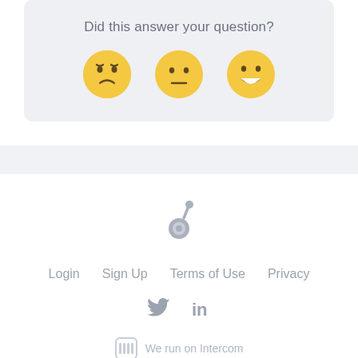Did this answer your question?
[Figure (illustration): Three emoji faces: sad/frustrated face, neutral face, happy/grinning face for feedback]
[Figure (logo): Intercom-style app logo mark in grey]
Login  Sign Up  Terms of Use  Privacy
[Figure (illustration): Twitter bird icon and LinkedIn 'in' icon in grey]
We run on Intercom